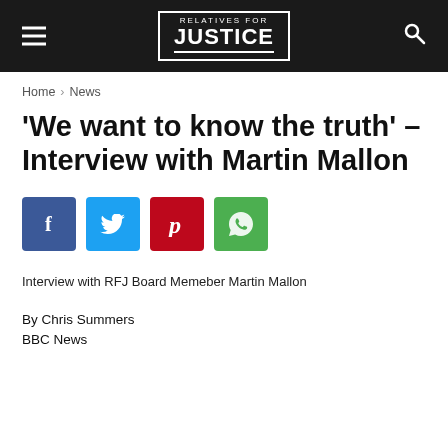RELATIVES FOR JUSTICE
Home › News
'We want to know the truth' – Interview with Martin Mallon
[Figure (infographic): Social sharing buttons: Facebook (blue), Twitter (light blue), Pinterest (red), WhatsApp (green)]
Interview with RFJ Board Memeber Martin Mallon
By Chris Summers
BBC News